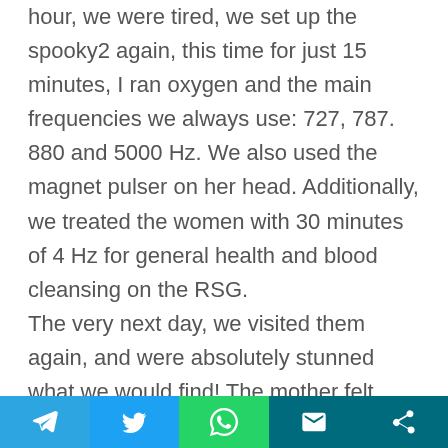hour, we were tired, we set up the spooky2 again, this time for just 15 minutes, I ran oxygen and the main frequencies we always use: 727, 787. 880 and 5000 Hz. We also used the magnet pulser on her head. Additionally, we treated the women with 30 minutes of 4 Hz for general health and blood cleansing on the RSG. The very next day, we visited them again, and were absolutely stunned what we would find! The mother felt much better and slept very well. But not just that, she said she felt like
[Telegram] [Twitter] [WhatsApp] [Email] [Share]